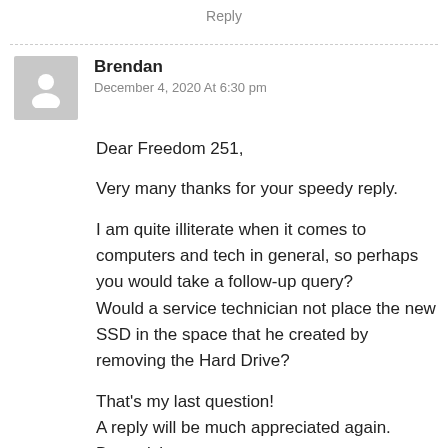Reply
Brendan
December 4, 2020 At 6:30 pm
Dear Freedom 251,

Very many thanks for your speedy reply.

I am quite illiterate when it comes to computers and tech in general, so perhaps you would take a follow-up query?
Would a service technician not place the new SSD in the space that he created by removing the Hard Drive?

That's my last question!
A reply will be much appreciated again.
Best wishes